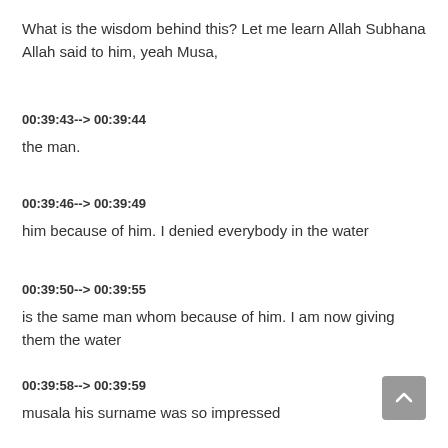What is the wisdom behind this? Let me learn Allah Subhana Allah said to him, yeah Musa,
00:39:43--> 00:39:44
the man.
00:39:46--> 00:39:49
him because of him. I denied everybody in the water
00:39:50--> 00:39:55
is the same man whom because of him. I am now giving them the water
00:39:58--> 00:39:59
musala his surname was so impressed